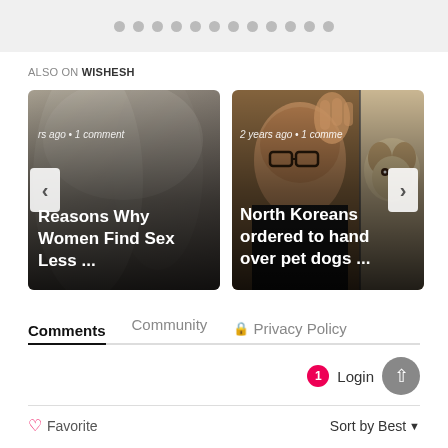[Figure (screenshot): Pagination dots bar with 12 gray dots on light gray background]
ALSO ON WISHESH
[Figure (screenshot): Two article cards in a carousel. Left card: photo of women, text 'rs ago • 1 comment' and title 'Reasons Why Women Find Sex Less ...'. Right card: photo of Kim Jong-un and a dog, text '2 years ago • 1 comme' and title 'North Koreans ordered to hand over pet dogs ...'. Navigation arrows on left and right.]
Comments  Community  🔒 Privacy Policy
🔔 1   Login  ↑
♡ Favorite
Sort by Best